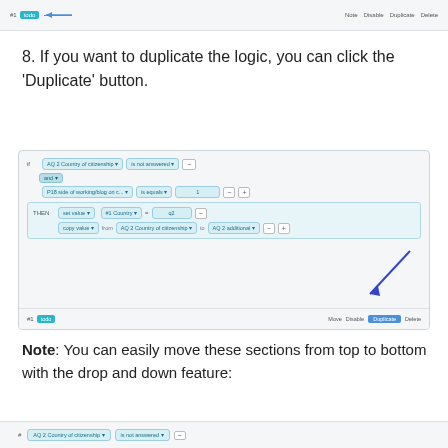[Figure (screenshot): UI screenshot showing a logic rule editor with IF/AND condition rows and THEN action rows, with Move, Disable, Duplicate, Delete buttons at the top right]
8. If you want to duplicate the logic, you can click the 'Duplicate' button.
[Figure (screenshot): UI screenshot of logic rule editor showing IF condition with 'AQ 2 Country of citizenship', 'is not answered', AND row with 'P18 side of working/blog on c...', 'is equals', '1', THEN block with 'set value' to '#1 Country' = q2, and 'copy value' from 'AQ 2 Country of citizenship' to 'AQ 2 additional', with Duplicate button highlighted and a diagonal arrow pointing to it]
Note: You can easily move these sections from top to bottom with the drop and down feature:
[Figure (screenshot): Bottom UI screenshot strip showing a logic rule row beginning with 'AQ 2 Country of citizenship', 'is not answered', and a minus button]